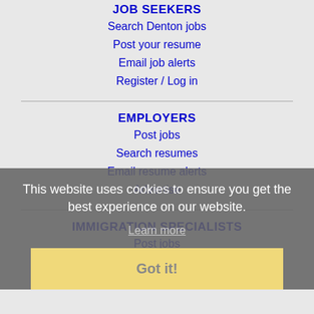JOB SEEKERS
Search Denton jobs
Post your resume
Email job alerts
Register / Log in
EMPLOYERS
Post jobs
Search resumes
Email resume alerts
Advertise
IMMIGRATION SPECIALISTS
Post jobs
Immigration FAQs
Learn more
This website uses cookies to ensure you get the best experience on our website.
Learn more
Got it!